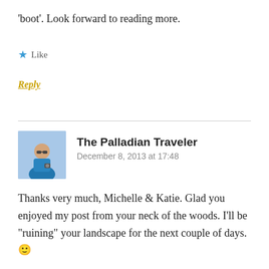'boot'. Look forward to reading more.
★ Like
Reply
The Palladian Traveler
December 8, 2013 at 17:48
Thanks very much, Michelle & Katie. Glad you enjoyed my post from your neck of the woods. I'll be "ruining" your landscape for the next couple of days. 🙂
★ Like